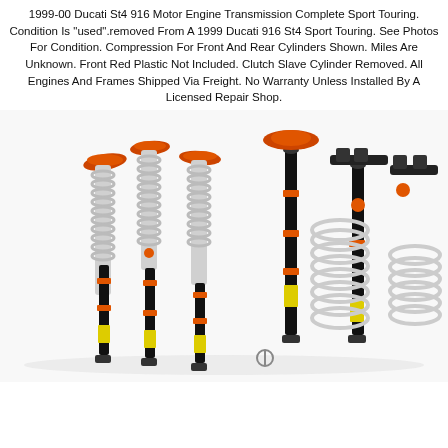1999-00 Ducati St4 916 Motor Engine Transmission Complete Sport Touring. Condition Is "used".removed From A 1999 Ducati 916 St4 Sport Touring. See Photos For Condition. Compression For Front And Rear Cylinders Shown. Miles Are Unknown. Front Red Plastic Not Included. Clutch Slave Cylinder Removed. All Engines And Frames Shipped Via Freight. No Warranty Unless Installed By A Licensed Repair Shop.
[Figure (photo): Photo of coilover suspension kit components including multiple coilover struts with orange/red top mounts, black shock absorber bodies with yellow labels, silver coil springs, and additional loose springs on a white background.]